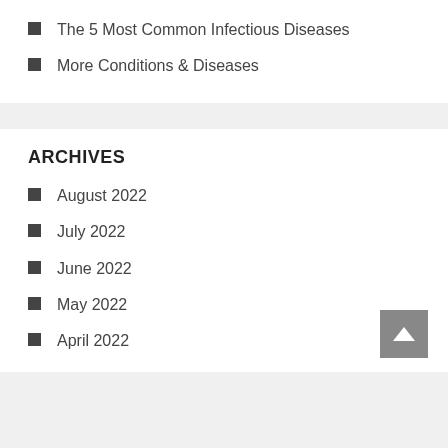The 5 Most Common Infectious Diseases
More Conditions & Diseases
ARCHIVES
August 2022
July 2022
June 2022
May 2022
April 2022